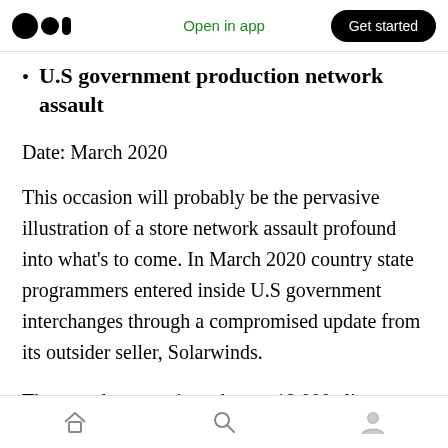Open in app | Get started
U.S government production network assault
Date: March 2020
This occasion will probably be the pervasive illustration of a store network assault profound into what’s to come. In March 2020 country state programmers entered inside U.S government interchanges through a compromised update from its outsider seller, Solarwinds.
The assault contaminated up to 18.000 clients
Home | Search | Profile